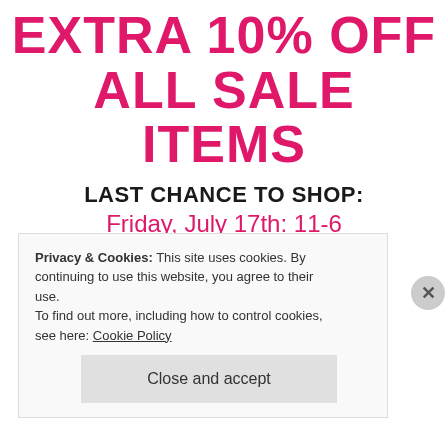EXTRA 10% OFF ALL SALE ITEMS
LAST CHANCE TO SHOP:
Friday, July 17th: 11-6
Saturday, Jul 18th: 10-5
All sales final. May not apply to previous purchases.
Privacy & Cookies: This site uses cookies. By continuing to use this website, you agree to their use.
To find out more, including how to control cookies, see here: Cookie Policy
Close and accept